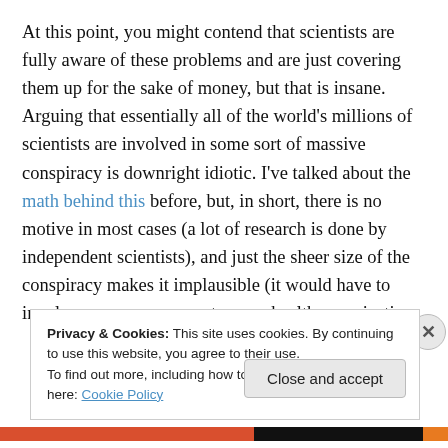At this point, you might contend that scientists are fully aware of these problems and are just covering them up for the sake of money, but that is insane. Arguing that essentially all of the world's millions of scientists are involved in some sort of massive conspiracy is downright idiotic. I've talked about the math behind this before, but, in short, there is no motive in most cases (a lot of research is done by independent scientists), and just the sheer size of the conspiracy makes it implausible (it would have to involve every government, every health organization,
Privacy & Cookies: This site uses cookies. By continuing to use this website, you agree to their use.
To find out more, including how to control cookies, see here: Cookie Policy
Close and accept